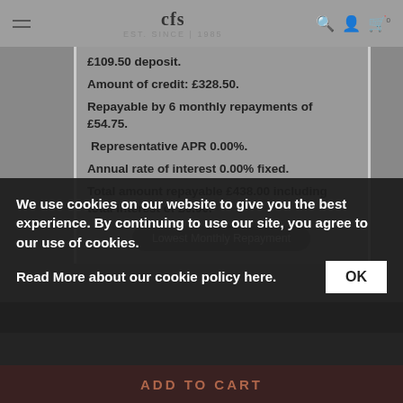CFS Est. Since 1985 [navigation bar with logo, search, account, cart icons]
£109.50 deposit.
Amount of credit: £328.50.
Repayable by 6 monthly repayments of £54.75.
Representative APR 0.00%.
Annual rate of interest 0.00% fixed.
Total amount repayable £438.00 including total interest of £0.00.
Lowest Monthly Repayment
We use cookies on our website to give you the best experience. By continuing to use our site, you agree to our use of cookies.
Read More about our cookie policy here.
OK
ADD TO CART